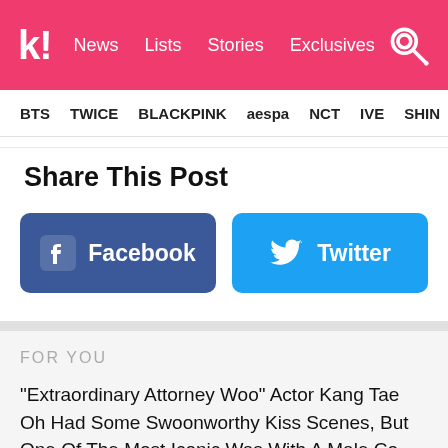k! News Lists Stories Exclusives
BTS TWICE BLACKPINK aespa NCT IVE SHINE
Share This Post
[Figure (screenshot): Facebook share button (blue) and Twitter share button (light blue) with respective logos]
FOR YOU
"Extraordinary Attorney Woo" Actor Kang Tae Oh Had Some Swoonworthy Kiss Scenes, But One Of The Most Iconic Was With A Male Co-Star
ATTTIn One Renowned And Ho...